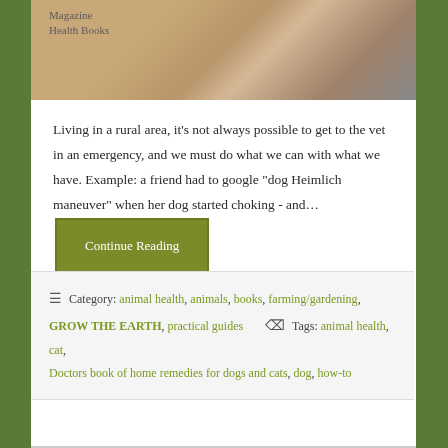[Figure (photo): Partial view of a dog photo with book cover labels 'Magazine Health Books' visible in upper left]
Living in a rural area, it's not always possible to get to the vet in an emergency, and we must do what we can with what we have. Example: a friend had to google "dog Heimlich maneuver" when her dog started choking - and… Continue Reading
Category: animal health, animals, books, farming/gardening, GROW THE EARTH, practical guides   Tags: animal health, cat, Doctors book of home remedies for dogs and cats, dog, how-to